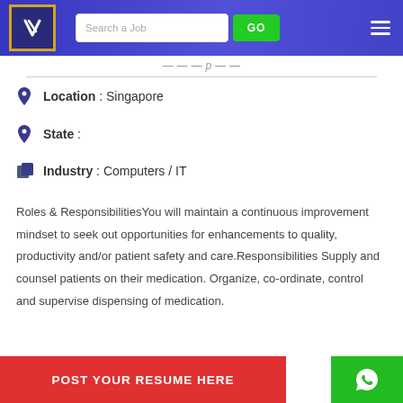Job portal header with logo, search bar, GO button, and hamburger menu
Location : Singapore
State :
Industry : Computers / IT
Roles & ResponsibilitiesYou will maintain a continuous improvement mindset to seek out opportunities for enhancements to quality, productivity and/or patient safety and care.Responsibilities Supply and counsel patients on their medication. Organize, co-ordinate, control and supervise dispensing of medication.